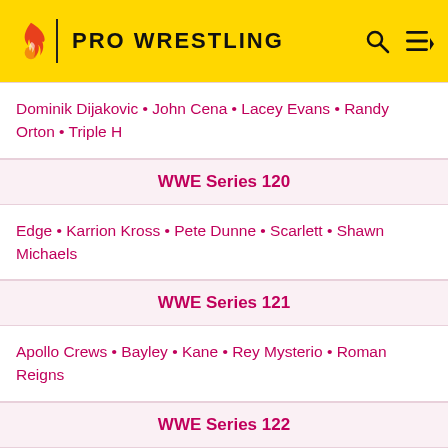PRO WRESTLING
Dominik Dijakovic • John Cena • Lacey Evans • Randy Orton • Triple H
WWE Series 120
Edge • Karrion Kross • Pete Dunne • Scarlett • Shawn Michaels
WWE Series 121
Apollo Crews • Bayley • Kane • Rey Mysterio • Roman Reigns
WWE Series 122
Charlotte Flair • Chelsea Green • Damian Priest • Drew McIntyre
WWE Series 123
Bobby Lashley • Braun Strowman • Dexter Lumis • Jake Atlas • Otis